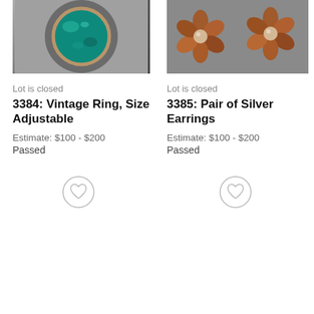[Figure (photo): Close-up photo of a vintage ring with a large teal/turquoise oval stone set in a silver bezel, on a grey background]
Lot is closed
3384: Vintage Ring, Size Adjustable
Estimate: $100 - $200
Passed
[Figure (photo): Close-up photo of a pair of copper/bronze flower-shaped earrings with pearl centers, on a grey background]
Lot is closed
3385: Pair of Silver Earrings
Estimate: $100 - $200
Passed